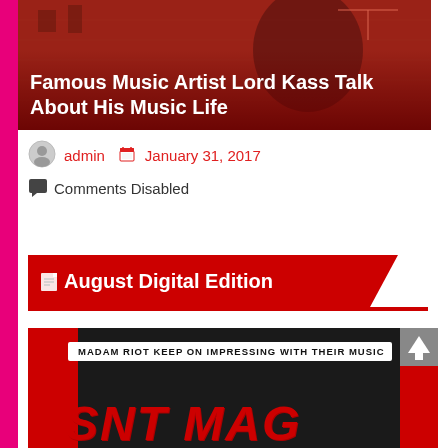[Figure (photo): Hero image of a music artist (Lord Kass) with red overlay and article title overlay at bottom]
Famous Music Artist Lord Kass Talk About His Music Life
admin  January 31, 2017
Comments Disabled
August Digital Edition
[Figure (photo): Magazine cover snippet showing 'MADAM RIOT KEEP ON IMPRESSING WITH THEIR MUSIC' banner and SNT MAG logo in red on dark background]